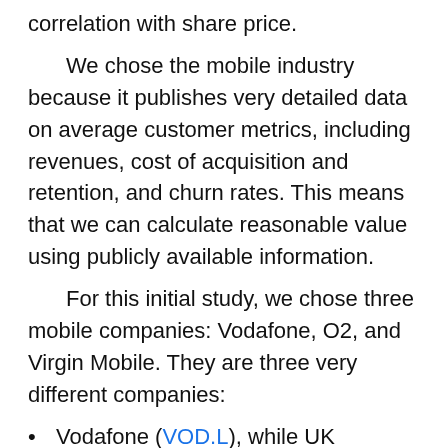correlation with share price.
    We chose the mobile industry because it publishes very detailed data on average customer metrics, including revenues, cost of acquisition and retention, and churn rates. This means that we can calculate reasonable value using publicly available information.
    For this initial study, we chose three mobile companies: Vodafone, O2, and Virgin Mobile. They are three very different companies:
Vodafone (VOD.L), while UK headquartered has a very strong international presence with Germany as its biggest market (about 30% of revenue). With a market capitalization of